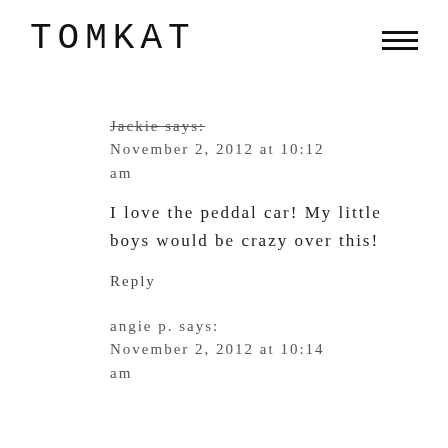TOMKAT
Jackie says:
November 2, 2012 at 10:12 am
I love the peddal car! My little boys would be crazy over this!
Reply
angie p. says:
November 2, 2012 at 10:14 am